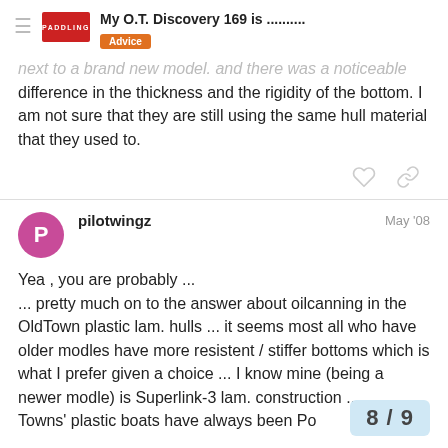My O.T. Discovery 169 is .......... — Advice
next to a brand new model. and there was a noticeable difference in the thickness and the rigidity of the bottom. I am not sure that they are still using the same hull material that they used to.
pilotwingz — May '08
Yea , you are probably ... ... pretty much on to the answer about oilcanning in the OldTown plastic lam. hulls ... it seems most all who have older modles have more resistent / stiffer bottoms which is what I prefer given a choice ... I know mine (being a newer modle) is Superlink-3 lam. construction ... Towns' plastic boats have always been Po
8 / 9